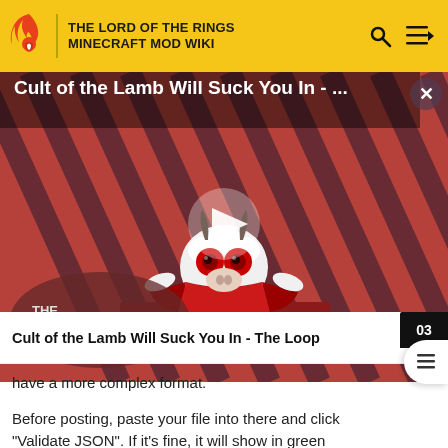THE LORD OF THE RINGS MINECRAFT MOD WIKI
[Figure (screenshot): Video thumbnail for 'Cult of the Lamb Will Suck You In - ...' showing a cartoon lamb character with demonic eyes on a striped red/dark background with THE LOOP logo and a play button overlay. Close (X) button in top right.]
Cult of the Lamb Will Suck You In - The Loop
have a more complex format.
Before posting, paste your file into there and click "Validate JSON". If it's fine, it will show in green